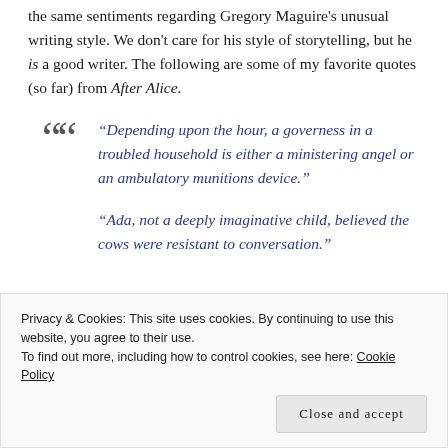the same sentiments regarding Gregory Maguire's unusual writing style. We don't care for his style of storytelling, but he is a good writer. The following are some of my favorite quotes (so far) from After Alice.
“Depending upon the hour, a governess in a troubled household is either a ministering angel or an ambulatory munitions device.”
“Ada, not a deeply imaginative child, believed the cows were resistant to conversation.”
Privacy & Cookies: This site uses cookies. By continuing to use this website, you agree to their use.
To find out more, including how to control cookies, see here: Cookie Policy